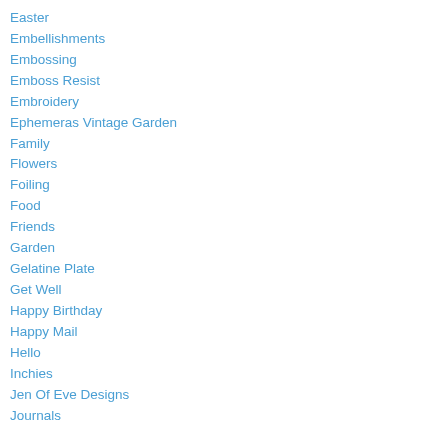Easter
Embellishments
Embossing
Emboss Resist
Embroidery
Ephemeras Vintage Garden
Family
Flowers
Foiling
Food
Friends
Garden
Gelatine Plate
Get Well
Happy Birthday
Happy Mail
Hello
Inchies
Jen Of Eve Designs
Journals